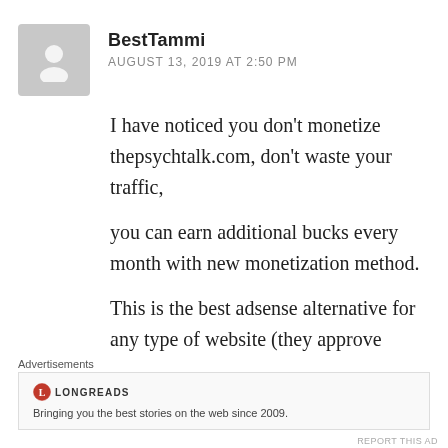BestTammi
AUGUST 13, 2019 AT 2:50 PM
I have noticed you don't monetize thepsychtalk.com, don't waste your traffic,

you can earn additional bucks every month with new monetization method.

This is the best adsense alternative for any type of website (they approve all websites). for more details simply
Advertisements
LONGREADS
Bringing you the best stories on the web since 2009.